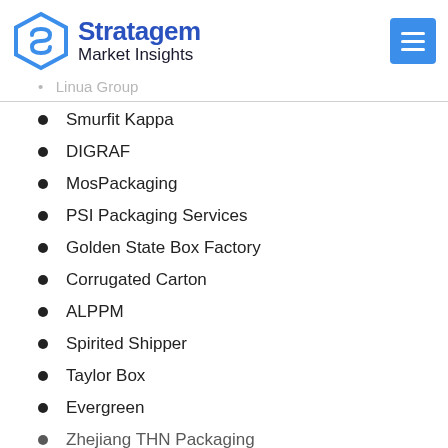Stratagem Market Insights
Linua Group
Smurfit Kappa
DIGRAF
MosPackaging
PSI Packaging Services
Golden State Box Factory
Corrugated Carton
ALPPM
Spirited Shipper
Taylor Box
Evergreen
Zhejiang THN Packaging